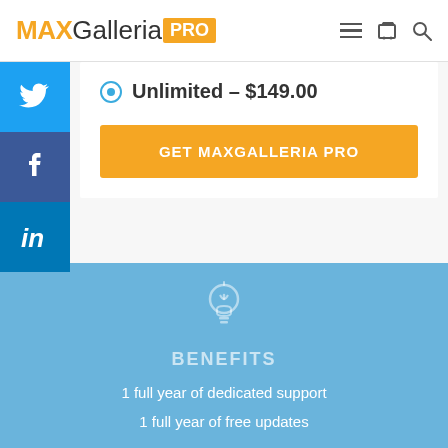MAXGalleria PRO
Unlimited – $149.00
GET MAXGALLERIA PRO
BENEFITS
1 full year of dedicated support
1 full year of free updates